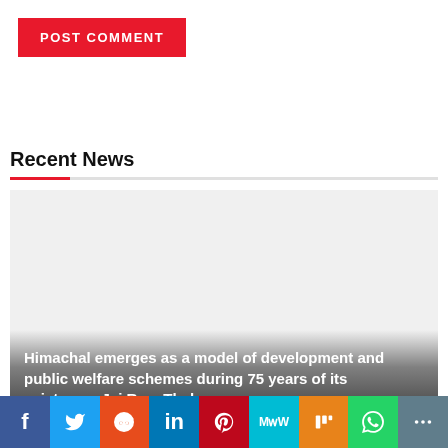[Figure (screenshot): POST COMMENT button with red background and white bold text]
Recent News
[Figure (photo): Light gray placeholder image for news article about Himachal Pradesh]
Himachal emerges as a model of development and public welfare schemes during 75 years of its existence: Jai Ram Thakur
[Figure (infographic): Social media sharing bar with Facebook, Twitter, Reddit, LinkedIn, Pinterest, MeWe, Mix, WhatsApp, and share buttons]